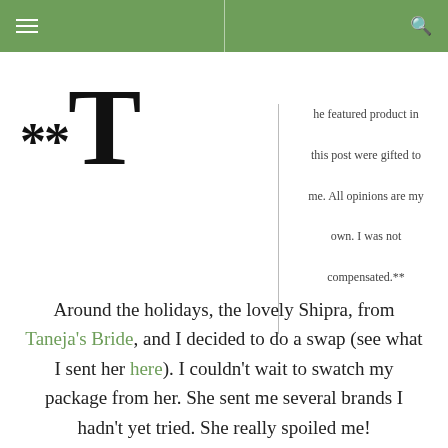Navigation bar with menu icon and search icon
**T he featured product in this post were gifted to me. All opinions are my own. I was not compensated.**
Around the holidays, the lovely Shipra, from Taneja's Bride, and I decided to do a swap (see what I sent her here). I couldn't wait to swatch my package from her. She sent me several brands I hadn't yet tried. She really spoiled me!